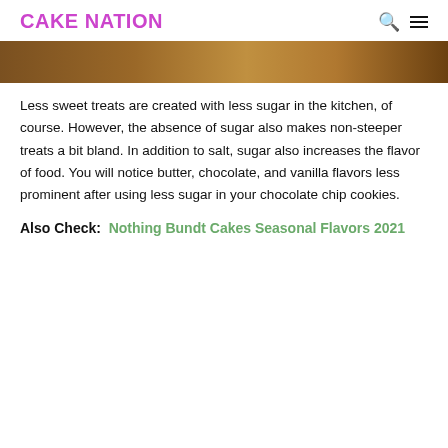CAKE NATION
[Figure (photo): A close-up photo of a baked good with a golden-brown surface, cropped to show mostly the top edge.]
Less sweet treats are created with less sugar in the kitchen, of course. However, the absence of sugar also makes non-steeper treats a bit bland. In addition to salt, sugar also increases the flavor of food. You will notice butter, chocolate, and vanilla flavors less prominent after using less sugar in your chocolate chip cookies.
Also Check:  Nothing Bundt Cakes Seasonal Flavors 2021